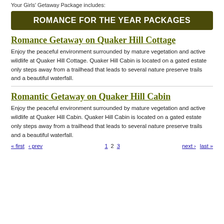Your Girls' Getaway Package includes:
ROMANCE FOR THE YEAR PACKAGES
Romance Getaway on Quaker Hill Cottage
Enjoy the peaceful environment surrounded by mature vegetation and active wildlife at Quaker Hill Cottage. Quaker Hill Cabin is located on a gated estate only steps away from a trailhead that leads to several nature preserve trails and a beautiful waterfall.
Romantic Getaway on Quaker Hill Cabin
Enjoy the peaceful environment surrounded by mature vegetation and active wildlife at Quaker Hill Cabin. Quaker Hill Cabin is located on a gated estate only steps away from a trailhead that leads to several nature preserve trails and a beautiful waterfall.
« first  ‹ prev   1 2 3   next ›  last »